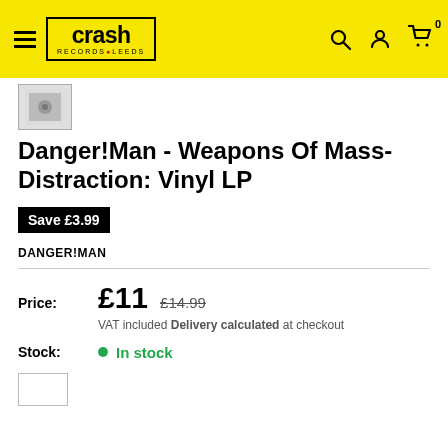crash RECORDS LEEDS
[Figure (screenshot): Small album art thumbnail with partial view of record cover]
Danger!Man - Weapons Of Mass-Distraction: Vinyl LP
Save £3.99
DANGER!MAN
Price: £11  £14.99  VAT included Delivery calculated at checkout
Stock: In stock